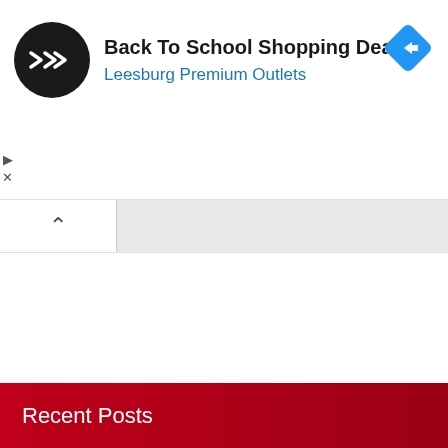[Figure (screenshot): Advertisement banner for 'Back To School Shopping Deals' at Leesburg Premium Outlets. Shows a black circular logo with a double-arrow icon, the ad title in bold black text, subtitle in blue, and a blue diamond navigation icon on the right. Small play and X controls on the left edge.]
[Figure (screenshot): Tab/accordion UI element with a white tab showing an upward caret (^) on a light gray background bar.]
Recent Posts